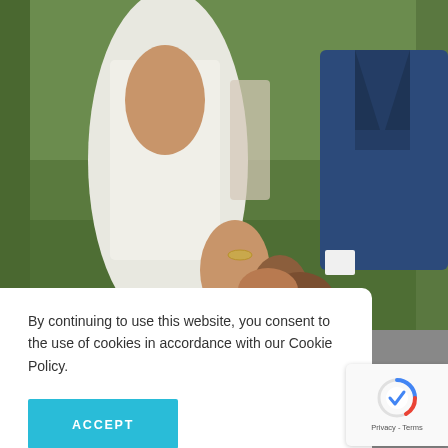[Figure (photo): Wedding photo showing a couple from torso down — woman in white dress, man in blue suit, hands intertwined, green grass background]
By continuing to use this website, you consent to the use of cookies in accordance with our Cookie Policy.
ACCEPT
[Figure (logo): Google reCAPTCHA badge with spinner icon and Privacy - Terms text]